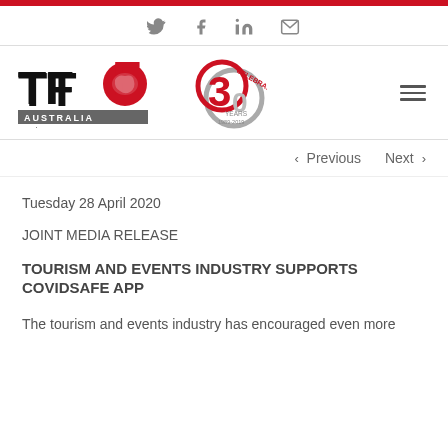TTF Australia - Tourism & Transport Forum — Social share icons: Twitter, Facebook, LinkedIn, Email
[Figure (logo): TTF Australia Tourism & Transport Forum logo with 30 Years Celebrating 1989-2019 anniversary logo]
< Previous   Next >
Tuesday 28 April 2020
JOINT MEDIA RELEASE
TOURISM AND EVENTS INDUSTRY SUPPORTS COVIDSAFE APP
The tourism and events industry has encouraged even more